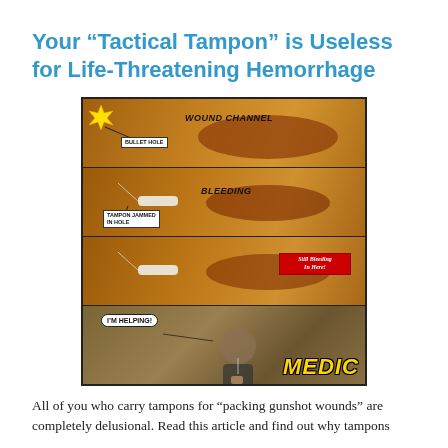Your “Tactical Tampon” is Useless for Life-Threatening Hemorrhage
[Figure (illustration): A four-panel meme-style illustration showing a bullet wound cross-section. Panel 1 labels 'WOUND CHANNEL' with a starburst and 'BULLET HOLE' callout. Panel 2 shows a tampon jammed in the wound labeled 'BLEEDING' and 'TAMPON JAMMED IN HOLE'. Panel 3 shows the same scene with a red box reading 'Still Bleeding In Here!'. Panel 4 shows a man giving thumbs up with a speech bubble 'I'M HELPING!' and the word 'MEDIC' in yellow at the bottom.]
All of you who carry tampons for “packing gunshot wounds” are completely delusional. Read this article and find out why tampons